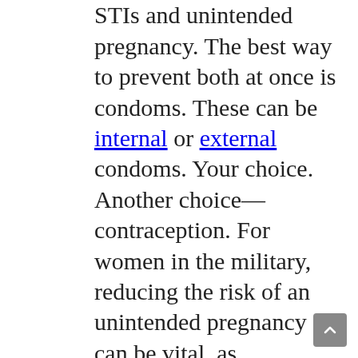some risk. This includes STIs and unintended pregnancy. The best way to prevent both at once is condoms. These can be internal or external condoms. Your choice. Another choice—contraception. For women in the military, reducing the risk of an unintended pregnancy can be vital, as pregnancy can sideline acareer. There are highly effective contraceptive options available that provide years of pregnancy protection and require nothing on a woman's part. These